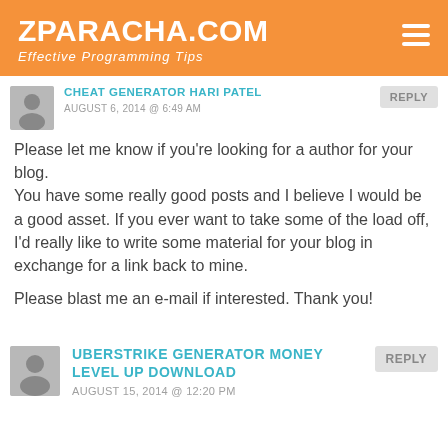ZPARACHA.COM
Effective Programming Tips
CHEAT GENERATOR HARI PATEL
AUGUST 6, 2014 @ 6:49 AM
Please let me know if you're looking for a author for your blog.
You have some really good posts and I believe I would be a good asset. If you ever want to take some of the load off, I'd really like to write some material for your blog in exchange for a link back to mine.
Please blast me an e-mail if interested. Thank you!
UBERSTRIKE GENERATOR MONEY LEVEL UP DOWNLOAD
AUGUST 15, 2014 @ 12:20 PM